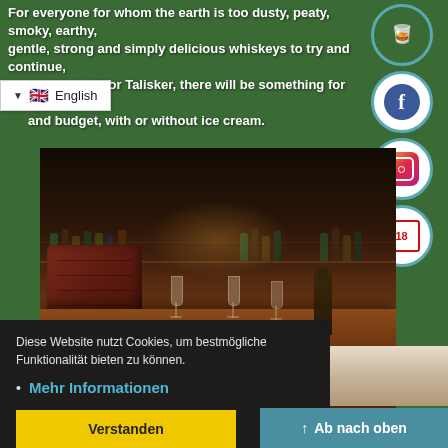For everyone for whom the earth is too dusty, peaty, smoky, earthy, gentle, strong and simply delicious whiskeys to try and continue, eg to T for Talisker, there will be something for everyone and budget, with or without ice cream.
[Figure (screenshot): Language selector showing English with UK flag]
[Figure (illustration): Social media icons: logo, Facebook, Instagram, age-18 verification, arranged vertically on right side]
[Figure (photo): Restaurant interior with leather chairs, wooden table set with wine glasses and a bottle, back-lit bar shelves with bottles in background]
Diese Website nutzt Cookies, um bestmögliche Funktionalität bieten zu können.
Mehr Informationen
Verstanden
↑ Ab nach oben
[Figure (photo): Bottom right partial photo, light-toned image partially visible]